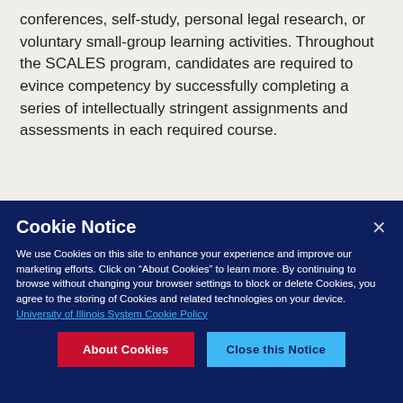Friday evenings are primarily reserved for faculty-candidate conferences, self-study, personal legal research, or voluntary small-group learning activities. Throughout the SCALES program, candidates are required to evince competency by successfully completing a series of intellectually stringent assignments and assessments in each required course.
[Figure (infographic): Large bold text showing '100%' in dark navy blue with a red horizontal line across the page]
Cookie Notice
We use Cookies on this site to enhance your experience and improve our marketing efforts. Click on "About Cookies" to learn more. By continuing to browse without changing your browser settings to block or delete Cookies, you agree to the storing of Cookies and related technologies on your device. University of Illinois System Cookie Policy